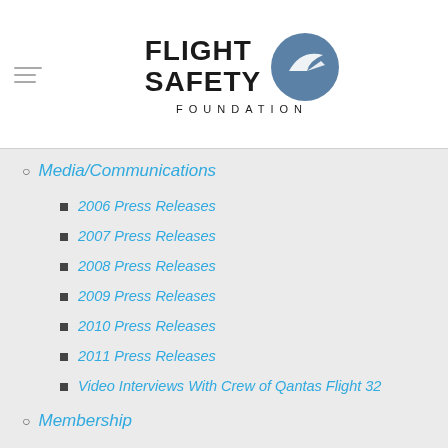[Figure (logo): Flight Safety Foundation logo with circular emblem and text]
Media/Communications
2006 Press Releases
2007 Press Releases
2008 Press Releases
2009 Press Releases
2010 Press Releases
2011 Press Releases
Video Interviews With Crew of Qantas Flight 32
Membership